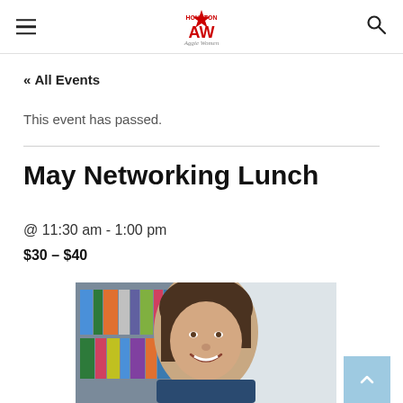Houston Aggie Women — navigation header with hamburger menu, logo, and search icon
« All Events
This event has passed.
May Networking Lunch
@ 11:30 am - 1:00 pm
$30 – $40
[Figure (photo): Woman smiling in front of a bookshelf, short brown hair, wearing a dark blue shirt]